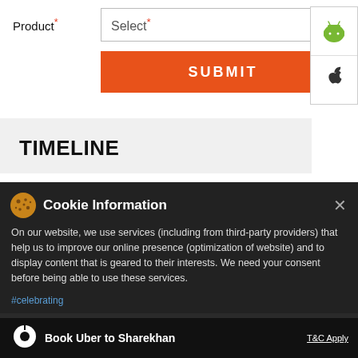Product*
Select*
SUBMIT
[Figure (screenshot): Android robot icon (green) for app download]
[Figure (screenshot): Apple logo icon for app download]
TIMELINE
< Back to Timeline
Cookie Information
On our website, we use services (including from third-party providers) that help us to improve our online presence (optimization of website) and to display content that is geared to their interests. We need your consent before being able to use these services.
#celebrating
Book Uber to Sharekhan
T&C Apply